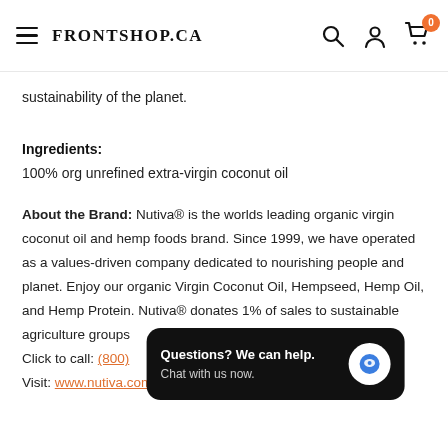FRONTSHOP.CA
sustainability of the planet.
Ingredients:
100% org unrefined extra-virgin coconut oil
About the Brand: Nutiva® is the worlds leading organic virgin coconut oil and hemp foods brand. Since 1999, we have operated as a values-driven company dedicated to nourishing people and planet. Enjoy our organic Virgin Coconut Oil, Hempseed, Hemp Oil, and Hemp Protein. Nutiva® donates 1% of sales to sustainable agriculture groups
Click to call: (800)
Visit: www.nutiva.com
[Figure (other): Chat widget overlay: 'Questions? We can help. Chat with us now.' with a blue chat icon on dark background]